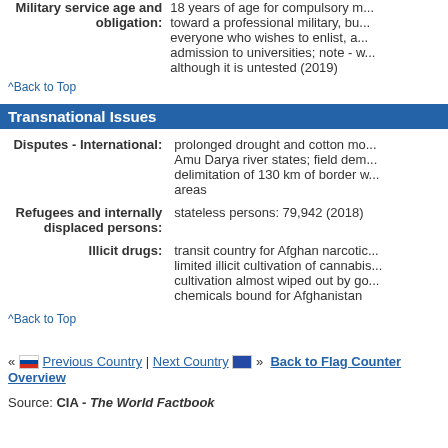Military service age and obligation: 18 years of age for compulsory military service; toward a professional military, but everyone who wishes to enlist, and admission to universities; note - although it is untested (2019)
^Back to Top
Transnational Issues
Disputes - International: prolonged drought and cotton monoculture in Amu Darya river states; field demarcation and delimitation of 130 km of border with Afghanistan remains areas
Refugees and internally displaced persons: stateless persons: 79,942 (2018)
Illicit drugs: transit country for Afghan narcotics; limited illicit cultivation of cannabis; cultivation almost wiped out by government; chemicals bound for Afghanistan
^Back to Top
« Previous Country | Next Country » Back to Flag Counter Overview
Source: CIA - The World Factbook